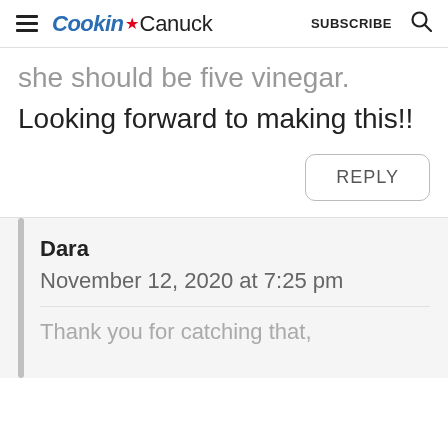Cookin' Canuck  SUBSCRIBE
she should be five vinegar. Looking forward to making this!!
REPLY
Dara
November 12, 2020 at 7:25 pm
Thank you for catching that,